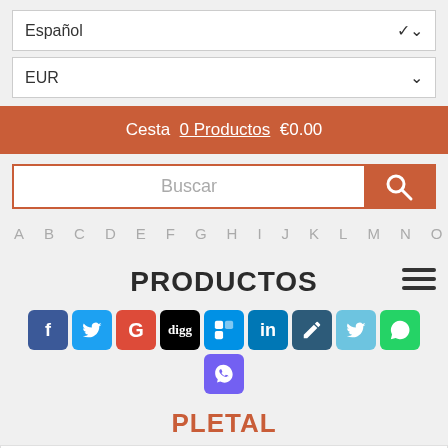Español
EUR
Cesta  0 Productos  €0.00
Buscar
A B C D E F G H I J K L M N O P
PRODUCTOS
[Figure (infographic): Social media sharing icons row: Facebook, Twitter, Google+, Digg, Delicious, LinkedIn, a stylus/pen icon, a bird icon, WhatsApp, Viber]
PLETAL
Pletal (Cilostazol) reduce los ataques de la